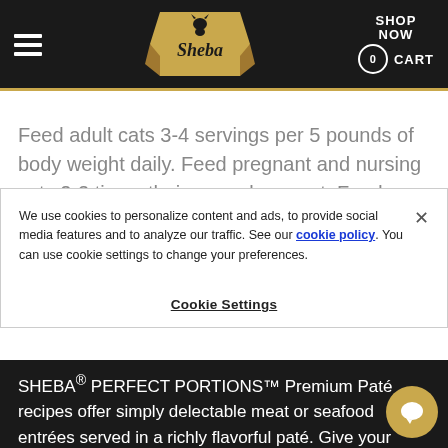Sheba — SHOP NOW 0 CART
Feed adult cats 3-4 servings per 5 pounds of body weight daily. Feed pregnant and nursing cats 2-3 times their normal amount. Feed a kitten 4-7 servings daily.
We use cookies to personalize content and ads, to provide social media features and to analyze our traffic. See our cookie policy. You can use cookie settings to change your preferences.
Cookie Settings
SHEBA® PERFECT PORTIONS™ Premium Paté recipes offer simply delectable meat or seafood entrées served in a richly flavorful paté. Give your favorite